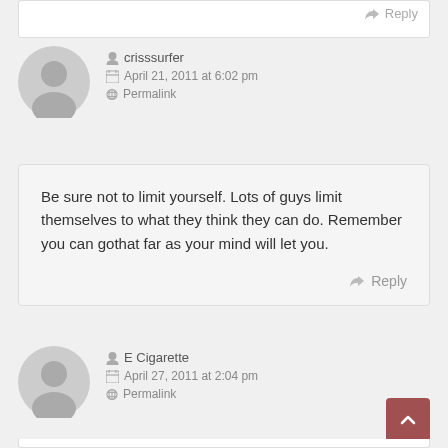crisssurfer — April 21, 2011 at 6:02 pm — Permalink
Be sure not to limit yourself. Lots of guys limit themselves to what they think they can do. Remember you can gothat far as your mind will let you.
Reply
E Cigarette — April 27, 2011 at 2:04 pm — Permalink